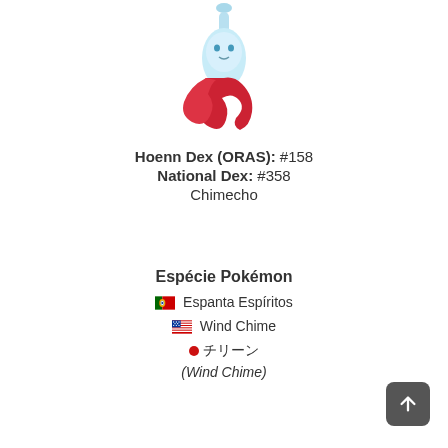[Figure (illustration): Chimecho Pokémon sprite illustration — a light blue wind chime shaped creature with red flowing bottom, partially visible at the top of the page]
Hoenn Dex (ORAS): #158
National Dex: #358
Chimecho
Espécie Pokémon
🇵🇹 Espanta Espíritos
🇺🇸 Wind Chime
🔴 チリーン
(Wind Chime)